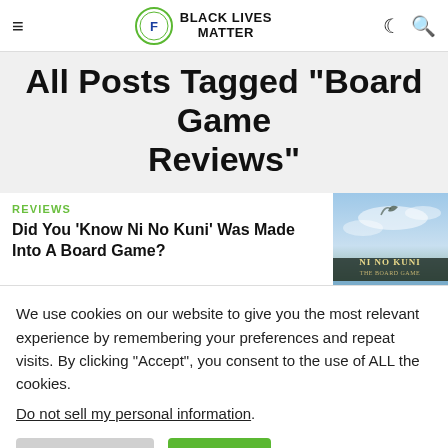BLACK LIVES MATTER
All Posts Tagged "Board Game Reviews"
REVIEWS
Did You ‘Know Ni No Kuni’ Was Made Into A Board Game?
[Figure (photo): Ni No Kuni: The Board Game cover art showing dramatic fantasy sky scene]
We use cookies on our website to give you the most relevant experience by remembering your preferences and repeat visits. By clicking “Accept”, you consent to the use of ALL the cookies.
Do not sell my personal information.
Cookie Settings  Accept